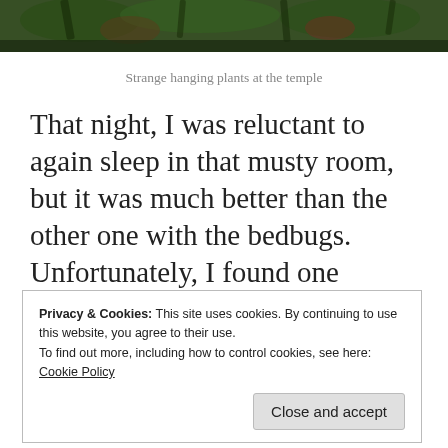[Figure (photo): Photograph of strange hanging plants at a temple, showing dense tropical vegetation with dark green and reddish leaves against a shadowy background.]
Strange hanging plants at the temple
That night, I was reluctant to again sleep in that musty room, but it was much better than the other one with the bedbugs. Unfortunately, I found one crawling under me that night and
Privacy & Cookies: This site uses cookies. By continuing to use this website, you agree to their use.
To find out more, including how to control cookies, see here:
Cookie Policy
Close and accept
problem, I would really like that